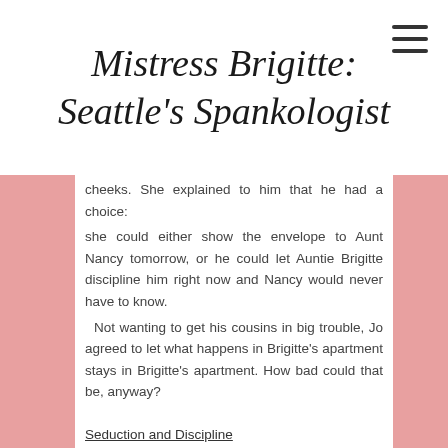Mistress Brigitte: Seattle's Spankologist
cheeks. She explained to him that he had a choice: she could either show the envelope to Aunt Nancy tomorrow, or he could let Auntie Brigitte discipline him right now and Nancy would never have to know.
Not wanting to get his cousins in big trouble, Jo agreed to let what happens in Brigitte's apartment stays in Brigitte's apartment. How bad could that be, anyway?
Seduction and Discipline
Knowing she couldn't ave sex with him,